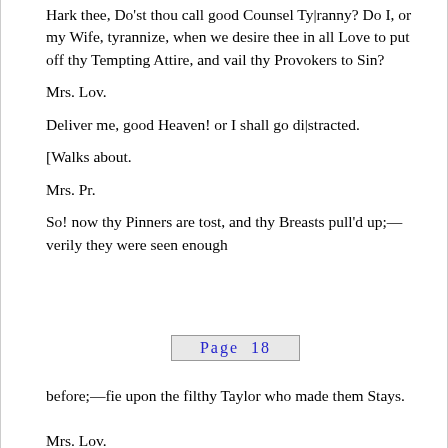Hark thee, Do'st thou call good Counsel Ty|ranny? Do I, or my Wife, tyrannize, when we desire thee in all Love to put off thy Tempting Attire, and vail thy Provokers to Sin?
Mrs. Lov.
Deliver me, good Heaven! or I shall go di|stracted.
[Walks about.
Mrs. Pr.
So! now thy Pinners are tost, and thy Breasts pull'd up;—verily they were seen enough
Page  18
before;—fie upon the filthy Taylor who made them Stays.
Mrs. Lov.